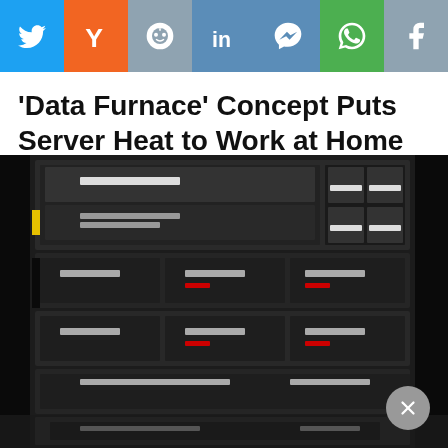[Figure (other): Social sharing bar with icons for Twitter, Yahoo, Reddit, LinkedIn, Messenger, WhatsApp, and Facebook]
'Data Furnace' Concept Puts Server Heat to Work at Home
[Figure (photo): Photo of stacked server rack units with multiple drive bays and blades, mounted in a black server rack enclosure]